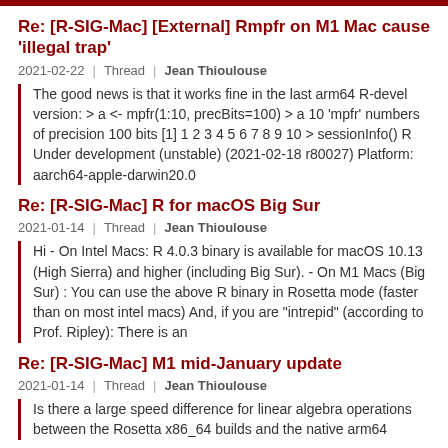Re: [R-SIG-Mac] [External] Rmpfr on M1 Mac cause 'illegal trap'
2021-02-22  |  Thread  |  Jean Thioulouse
The good news is that it works fine in the last arm64 R-devel version: > a <- mpfr(1:10, precBits=100) > a 10 'mpfr' numbers of precision 100 bits [1] 1 2 3 4 5 6 7 8 9 10 > sessionInfo() R Under development (unstable) (2021-02-18 r80027) Platform: aarch64-apple-darwin20.0
Re: [R-SIG-Mac] R for macOS Big Sur
2021-01-14  |  Thread  |  Jean Thioulouse
Hi - On Intel Macs: R 4.0.3 binary is available for macOS 10.13 (High Sierra) and higher (including Big Sur). - On M1 Macs (Big Sur) : You can use the above R binary in Rosetta mode (faster than on most intel macs) And, if you are "intrepid" (according to Prof. Ripley): There is an
Re: [R-SIG-Mac] M1 mid-January update
2021-01-14  |  Thread  |  Jean Thioulouse
Is there a large speed difference for linear algebra operations between the Rosetta x86_64 builds and the native arm64